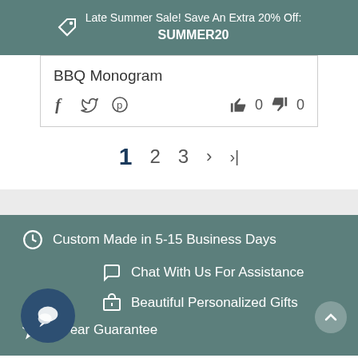Late Summer Sale! Save An Extra 20% Off: SUMMER20
BBQ Monogram
f  (twitter)  (pinterest)   👍 0  👎 0
1  2  3  >  >|
Custom Made in 5-15 Business Days
Chat With Us For Assistance
Beautiful Personalized Gifts
5 Year Guarantee